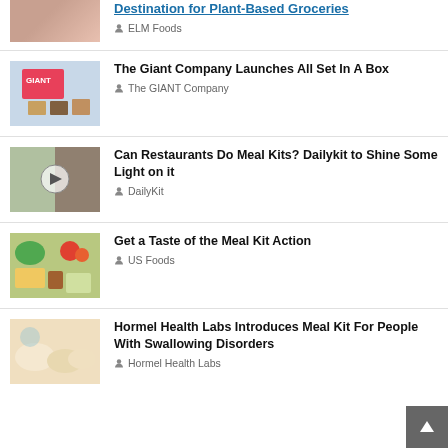Destination for Plant-Based Groceries — ELM Foods
The Giant Company Launches All Set In A Box — The GIANT Company
Can Restaurants Do Meal Kits? Dailykit to Shine Some Light on it — DailyKit
Get a Taste of the Meal Kit Action — US Foods
Hormel Health Labs Introduces Meal Kit For People With Swallowing Disorders — Hormel Health Labs